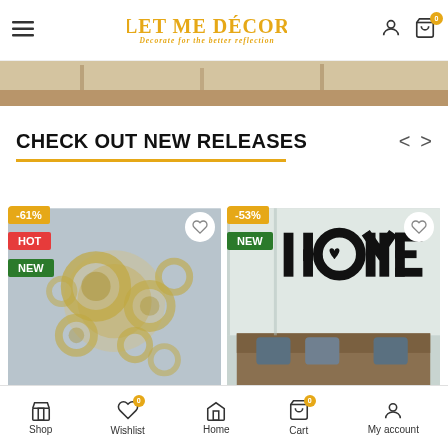LET ME DECOR — Decorate for the better reflection
[Figure (screenshot): Banner image showing a living room interior with wooden floor]
CHECK OUT NEW RELEASES
[Figure (photo): Silver metallic wall art decor with -61% discount badge, HOT label, NEW label, and heart wishlist button]
[Figure (photo): Black HOME wall art sign with heart in living room setting, -53% discount badge, NEW label, and heart wishlist button]
Shop | Wishlist 0 | Home | Cart 0 | My account